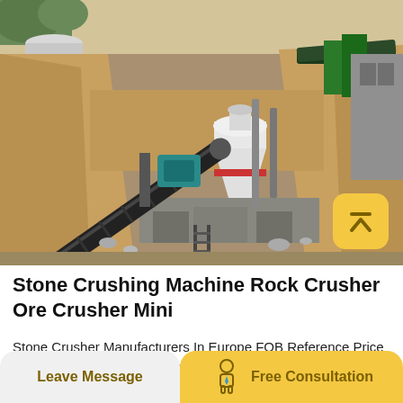[Figure (photo): Outdoor stone crushing machine / cone crusher setup at a quarry site, with conveyor belts, rocky earth walls, and industrial equipment visible]
Stone Crushing Machine Rock Crusher Ore Crusher Mini
Stone Crusher Manufacturers In Europe FOB Reference Price Get Latest Price European granules crushing machine stone crushing machines manufacturers from europe stone crushing machines
Leave Message
Free Consultation